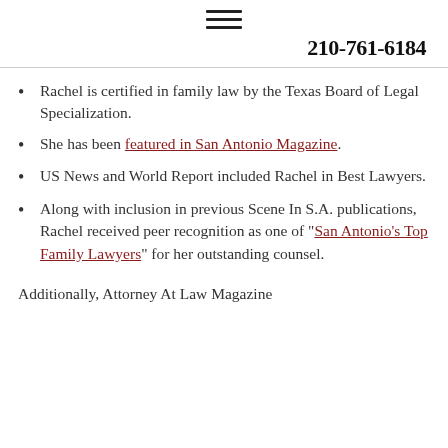☰
210-761-6184
Rachel is certified in family law by the Texas Board of Legal Specialization.
She has been featured in San Antonio Magazine.
US News and World Report included Rachel in Best Lawyers.
Along with inclusion in previous Scene In S.A. publications, Rachel received peer recognition as one of "San Antonio's Top Family Lawyers" for her outstanding counsel.
Additionally, Attorney At Law Magazine